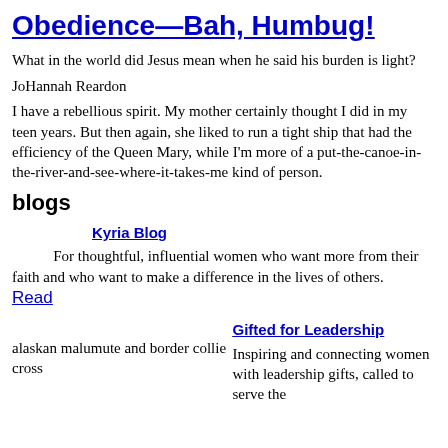Obedience—Bah, Humbug!
What in the world did Jesus mean when he said his burden is light?
JoHannah Reardon
I have a rebellious spirit. My mother certainly thought I did in my teen years. But then again, she liked to run a tight ship that had the efficiency of the Queen Mary, while I'm more of a put-the-canoe-in-the-river-and-see-where-it-takes-me kind of person.
blogs
Kyria Blog
For thoughtful, influential women who want more from their faith and who want to make a difference in the lives of others. Read
alaskan malumute and border collie cross
Gifted for Leadership
Inspiring and connecting women with leadership gifts, called to serve the